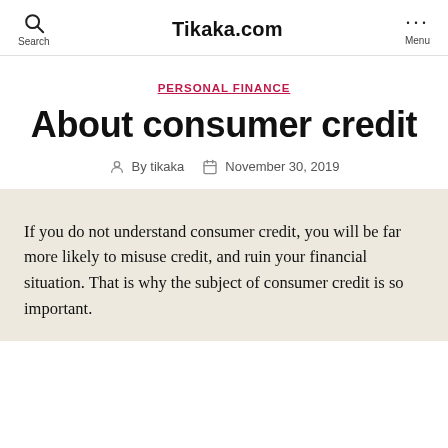Tikaka.com
PERSONAL FINANCE
About consumer credit
By tikaka   November 30, 2019
If you do not understand consumer credit, you will be far more likely to misuse credit, and ruin your financial situation. That is why the subject of consumer credit is so important.